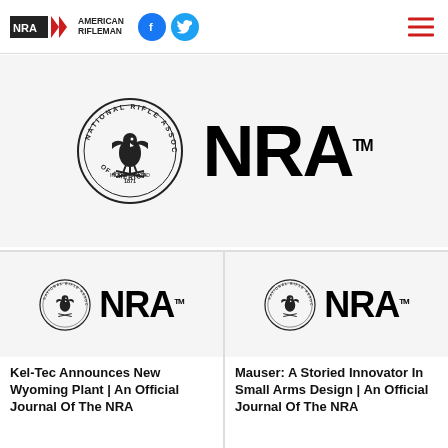NRA American Rifleman
[Figure (logo): Large NRA logo with circular seal and bold NRA text with TM mark]
[Figure (logo): Small NRA logo with circular seal on article card left]
Kel-Tec Announces New Wyoming Plant | An Official Journal Of The NRA
[Figure (logo): Small NRA logo with circular seal on article card right]
Mauser: A Storied Innovator In Small Arms Design | An Official Journal Of The NRA